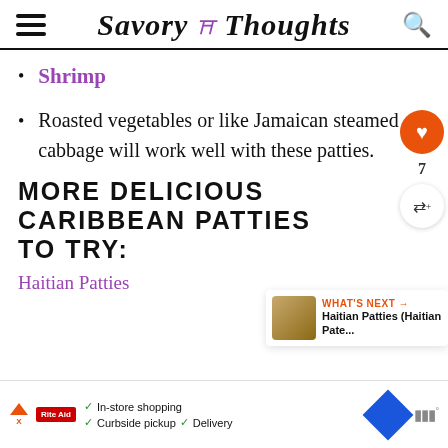Savory Thoughts
Shrimp
Roasted vegetables or like Jamaican steamed cabbage will work well with these patties.
MORE DELICIOUS CARIBBEAN PATTIES TO TRY:
Haitian Patties
[Figure (other): Advertisement banner showing in-store shopping, curbside pickup, and delivery options]
[Figure (other): What's Next promo card showing Haitian Patties (Haitian Pate...)]